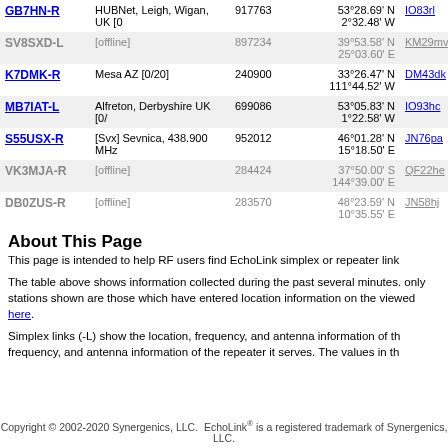| Callsign | Location | Node | Coordinates | Grid | Freq |
| --- | --- | --- | --- | --- | --- |
| GB7HN-R | HUBNet, Leigh, Wigan, UK [0 | 917763 | 53°28.69' N 2°32.48' W | IO83rl | 550 |
| SV8SXD-L | [offline] | 897234 | 39°53.58' N 25°03.60' E | KM29mv | 550 |
| K7DMK-R | Mesa AZ [0/20] | 240900 | 33°26.47' N 111°44.52' W | DM43dk | 551 |
| MB7IAT-L | Alfreton, Derbyshire UK [0/ | 699086 | 53°05.83' N 1°22.58' W | IO93hc | 551 |
| S55USX-R | [Svx] Sevnica, 438.900 MHz | 952012 | 46°01.28' N 15°18.50' E | JN76pa | 551 |
| VK3MJA-R | [offline] | 284424 | 37°50.00' S 144°39.00' E | QF22he | 551 |
| DB0ZUS-R | [offline] | 283570 | 48°23.59' N 10°35.55' E | JN58hj | 551 |
About This Page
This page is intended to help RF users find EchoLink simplex or repeater link
The table above shows information collected during the past several minutes. only stations shown are those which have entered location information on the viewed here.
Simplex links (-L) show the location, frequency, and antenna information of the frequency, and antenna information of the repeater it serves. The values in th
Copyright © 2002-2020 Synergenics, LLC. EchoLink® is a registered trademark of Synergenics, LLC.